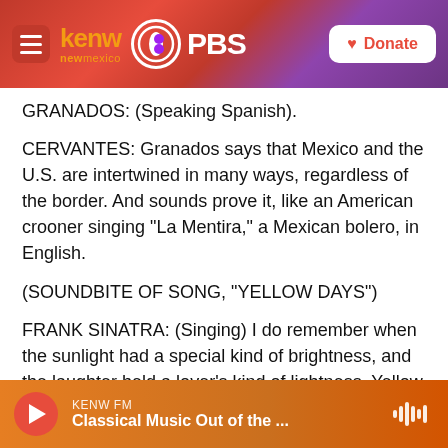KENW New Mexico PBS — Donate
GRANADOS: (Speaking Spanish).
CERVANTES: Granados says that Mexico and the U.S. are intertwined in many ways, regardless of the border. And sounds prove it, like an American crooner singing "La Mentira," a Mexican bolero, in English.
(SOUNDBITE OF SONG, "YELLOW DAYS")
FRANK SINATRA: (Singing) I do remember when the sunlight had a special kind of brightness, and the laughter held a lover's kind of lightness. Yellow days, yellow days. Transcript provided by NPR
KENW FM — Classical Music Out of the ...